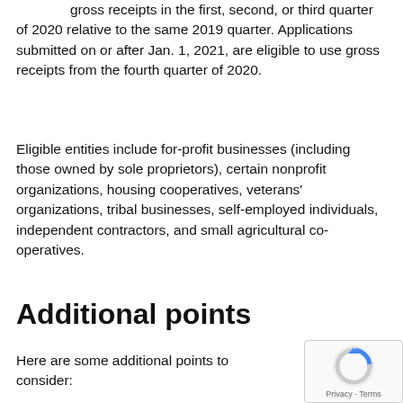gross receipts in the first, second, or third quarter of 2020 relative to the same 2019 quarter. Applications submitted on or after Jan. 1, 2021, are eligible to use gross receipts from the fourth quarter of 2020.
Eligible entities include for-profit businesses (including those owned by sole proprietors), certain nonprofit organizations, housing cooperatives, veterans' organizations, tribal businesses, self-employed individuals, independent contractors, and small agricultural co-operatives.
Additional points
Here are some additional points to consider: